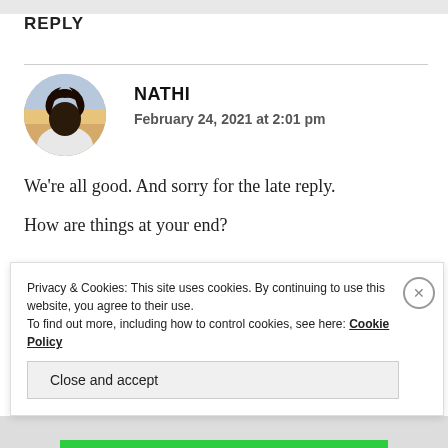REPLY
NATHI
February 24, 2021 at 2:01 pm
We're all good. And sorry for the late reply.
How are things at your end?
Privacy & Cookies: This site uses cookies. By continuing to use this website, you agree to their use.
To find out more, including how to control cookies, see here: Cookie Policy
Close and accept